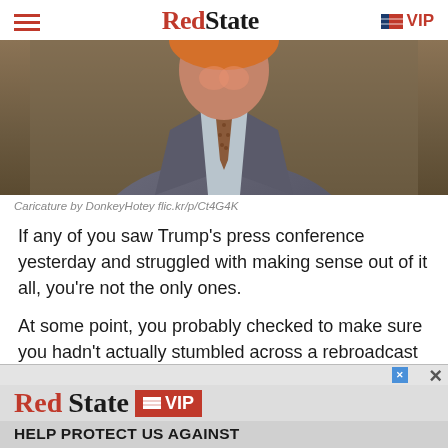RedState | VIP
[Figure (illustration): Cropped caricature image showing a man in a grey suit with a tie, head partially cut off at top, by DonkeyHotey]
Caricature by DonkeyHotey flic.kr/p/Ct4G4K
If any of you saw Trump's press conference yesterday and struggled with making sense out of it all, you're not the only ones.
At some point, you probably checked to make sure you hadn't actually stumbled across a rebroadcast of Saturday Night Live.
[Figure (screenshot): RedState VIP advertisement banner at the bottom reading 'RedState VIP - HELP PROTECT US AGAINST']